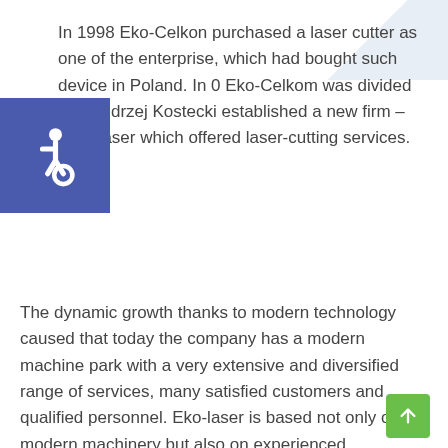In 1998 Eko-Celkon purchased a laser cutter as one of the enterprise, which had bought such device in Poland. In 0 Eko-Celkom was divided and Andrzej Kostecki established a new firm – Eko-Laser which offered laser-cutting services.
[Figure (illustration): Blue square with white wheelchair accessibility icon]
The dynamic growth thanks to modern technology caused that today the company has a modern machine park with a very extensive and diversified range of services, many satisfied customers and qualified personnel. Eko-laser is based not only on modern machinery but also on experienced personnel, software engineers, machine
[Figure (illustration): Green rounded square button with upward arrow icon]